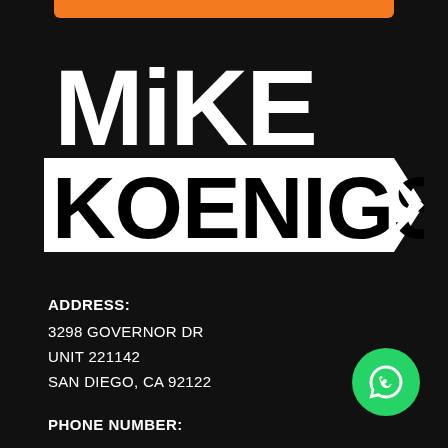[Figure (logo): Mike Koenigs logo with white bold text and arrow on dark background, with orange bar at top]
ADDRESS:
3298 GOVERNOR DR
UNIT 221142
SAN DIEGO, CA 92122
[Figure (logo): WhatsApp green circle icon with phone handset]
PHONE NUMBER: